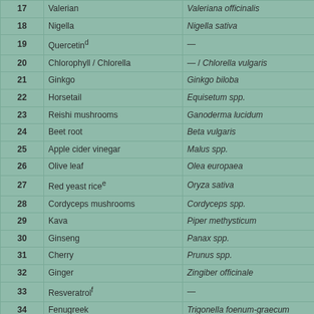| # | Common Name | Latin Name |
| --- | --- | --- |
| 17 | Valerian | Valeriana officinalis |
| 18 | Nigella | Nigella sativa |
| 19 | Quercetinᵈ | — |
| 20 | Chlorophyll / Chlorella | — / Chlorella vulgaris |
| 21 | Ginkgo | Ginkgo biloba |
| 22 | Horsetail | Equisetum spp. |
| 23 | Reishi mushrooms | Ganoderma lucidum |
| 24 | Beet root | Beta vulgaris |
| 25 | Apple cider vinegar | Malus spp. |
| 26 | Olive leaf | Olea europaea |
| 27 | Red yeast riceᵉ | Oryza sativa |
| 28 | Cordyceps mushrooms | Cordyceps spp. |
| 29 | Kava | Piper methysticum |
| 30 | Ginseng | Panax spp. |
| 31 | Cherry | Prunus spp. |
| 32 | Ginger | Zingiber officinale |
| 33 | Resveratrolᶠ | — |
| 34 | Fenugreek | Trigonella foenum-graecum |
| 35 | Holy basil | Ocimum tenuiflorum |
| 36 | Hawthorn | Crataegus spp. |
| 37 | Stevia | Stevia rebaudiana |
| 38 | Evening primrose oil | Oenothera biennis |
| 39 | Nettle | Urtica dioica |
| 40 | Chaga mushrooms | Inonotus obliquus |